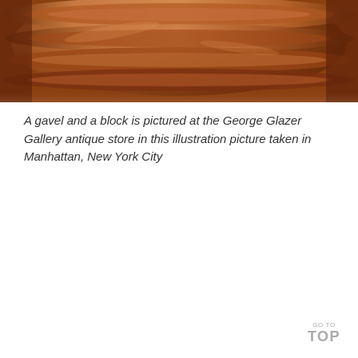[Figure (photo): Close-up photograph of a wooden gavel and block, showing warm brown and orange tones with circular wood grain patterns and ridged edges.]
A gavel and a block is pictured at the George Glazer Gallery antique store in this illustration picture taken in Manhattan, New York City